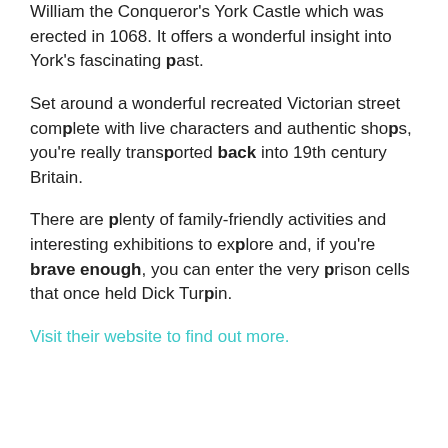William the Conqueror's York Castle which was erected in 1068. It offers a wonderful insight into York's fascinating past.
Set around a wonderful recreated Victorian street complete with live characters and authentic shops, you're really transported back into 19th century Britain.
There are plenty of family-friendly activities and interesting exhibitions to explore and, if you're brave enough, you can enter the very prison cells that once held Dick Turpin.
Visit their website to find out more.